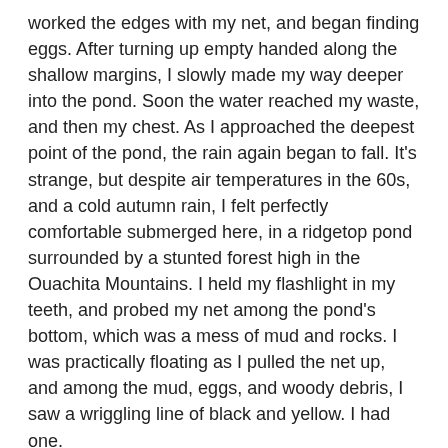worked the edges with my net, and began finding eggs.  After turning up empty handed along the shallow margins, I slowly made my way deeper into the pond.  Soon the water reached my waste, and then my chest.  As I approached the deepest point of the pond, the rain again began to fall.  It's strange, but despite air temperatures in the 60s, and a cold autumn rain, I felt perfectly comfortable submerged here, in a ridgetop pond surrounded by a stunted forest high in the Ouachita Mountains.  I held my flashlight in my teeth, and probed my net among the pond's bottom, which was a mess of mud and rocks.  I was practically floating as I pulled the net up, and among the mud, eggs, and woody debris, I saw a wriggling line of black and yellow.  I had one.
“I got one!” I called as I made my way back to the truck, where Caro was patiently waiting.  With renewed energy, I returned to the pond, swam out to the middle, and continued my search.  After a few minutes I pulled up a large, spent female which ranks as one of the most beautiful salamanders I have ever seen.